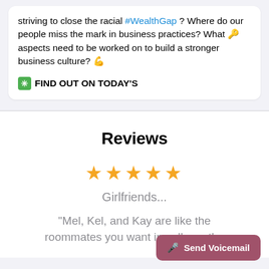striving to close the racial #WealthGap ? Where do our people miss the mark in business practices? What 🔑 aspects need to be worked on to build a stronger business culture? 💪
❊FIND OUT ON TODAY'S
Reviews
★★★★★
Girlfriends...
"Mel, Kel, and Kay are like the roommates you want in college, the
Send Voicemail